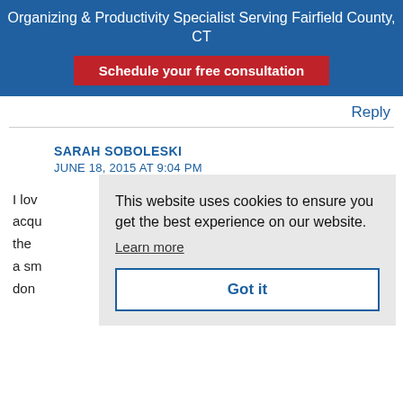Organizing & Productivity Specialist Serving Fairfield County, CT
Schedule your free consultation
Reply
SARAH SOBOLESKI
JUNE 18, 2015 AT 9:04 PM
I lov
acqu
the
a sm
don
This website uses cookies to ensure you get the best experience on our website.
Learn more
Got it